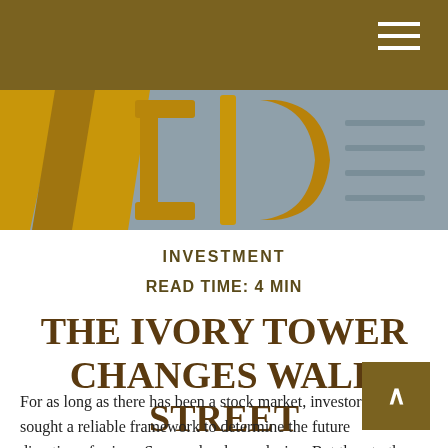INVESTMENT
[Figure (photo): Close-up photo of gold and grey metallic letters or signage, partially visible, with bokeh background]
INVESTMENT
READ TIME: 4 MIN
THE IVORY TOWER CHANGES WALL STREET
For as long as there has been a stock market, investors have sought a reliable framework to determine the future direction of prices. Success has been elusive. But thanks to the work of three American economists, we operate